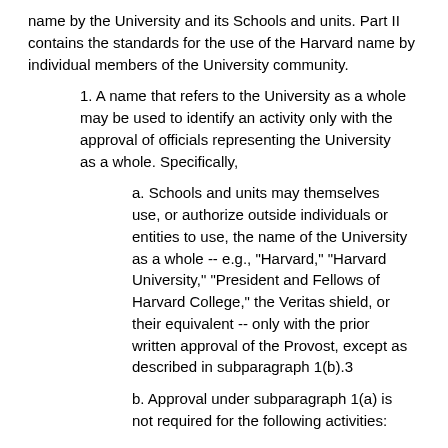name by the University and its Schools and units. Part II contains the standards for the use of the Harvard name by individual members of the University community.
1. A name that refers to the University as a whole may be used to identify an activity only with the approval of officials representing the University as a whole. Specifically,
a. Schools and units may themselves use, or authorize outside individuals or entities to use, the name of the University as a whole -- e.g., "Harvard," "Harvard University," "President and Fellows of Harvard College," the Veritas shield, or their equivalent -- only with the prior written approval of the Provost, except as described in subparagraph 1(b).3
b. Approval under subparagraph 1(a) is not required for the following activities: